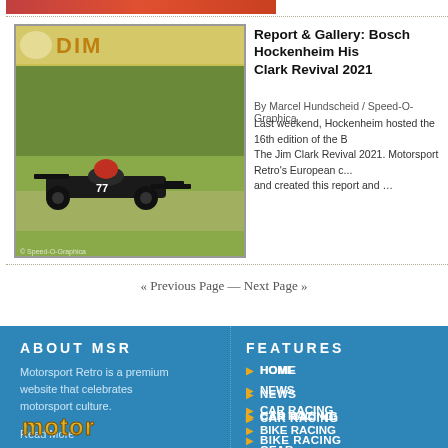[Figure (photo): Top strip showing part of a racing-related image with red coloring]
[Figure (photo): Historic Formula 1 racing car (black Lotus-style car) on track at Hockenheim Historic / Jim Clark Revival 2021]
Report & Gallery: Bosch Hockenheim Historic Jim Clark Revival 2021
By Marcel Hundscheid / Speed-O-Graphica
Last weekend, Hockenheim hosted the 16th edition of the B... The Jim Clark Revival 2021. Motorsport Retro's European c... and created this report and …
« Previous Page — Next Page »
ABOUT MSR
Motorsport Retro is a premium website that celebrates motorsport culture.
Read More
FEATURES
HOME
NEWS
CAR RACING
BIKE RACING
GEAR
DESIGN
[Figure (logo): MOTOR logo in yellow styled lettering on blue background]